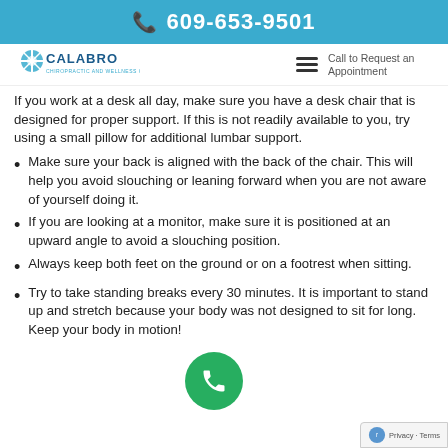609-653-9501
[Figure (logo): Calabro Chiropractic and Wellness Center logo with snowflake/sun icon]
Call to Request an Appointment
If you work at a desk all day, make sure you have a desk chair that is designed for proper support. If this is not readily available to you, try using a small pillow for additional lumbar support.
Make sure your back is aligned with the back of the chair. This will help you avoid slouching or leaning forward when you are not aware of yourself doing it.
If you are looking at a monitor, make sure it is positioned at an upward angle to avoid a slouching position.
Always keep both feet on the ground or on a footrest when sitting.
Try to take standing breaks every 30 minutes. It is important to stand up and stretch because your body was not designed to sit for long. Keep your body in motion!